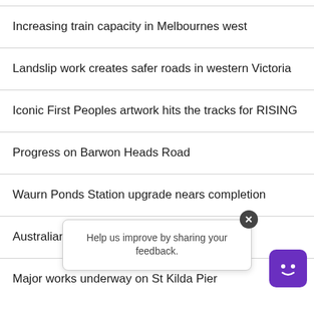Increasing train capacity in Melbournes west
Landslip work creates safer roads in western Victoria
Iconic First Peoples artwork hits the tracks for RISING
Progress on Barwon Heads Road
Waurn Ponds Station upgrade nears completion
Australian f...ity
Major works underway on St Kilda Pier